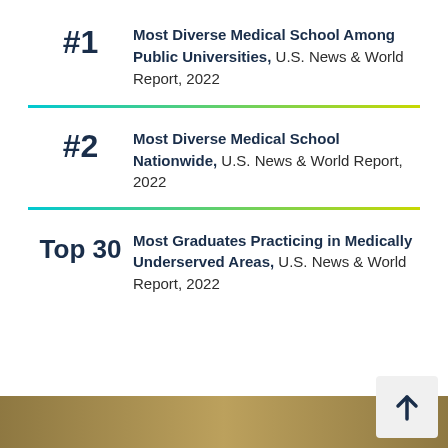#1 Most Diverse Medical School Among Public Universities, U.S. News & World Report, 2022
#2 Most Diverse Medical School Nationwide, U.S. News & World Report, 2022
Top 30 Most Graduates Practicing in Medically Underserved Areas, U.S. News & World Report, 2022